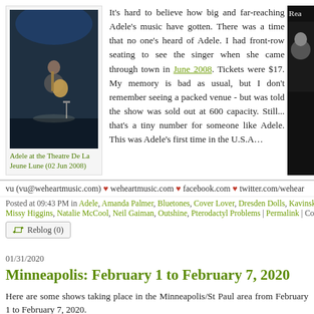[Figure (photo): Photo of Adele performing on stage at the Theatre De La Jeune Lune, playing guitar, dark stage background with blue lighting, 02 Jun 2008]
Adele at the Theatre De La Jeune Lune (02 Jun 2008)
It's hard to believe how big and far-reaching Adele's music have gotten. There was a time that no one's heard of Adele. I had front-row seating to see the singer when she came through town in June 2008. Tickets were $17. My memory is bad as usual, but I don't remember seeing a packed venue - but was told the show was sold out at 600 capacity. Still... that's a tiny number for someone like Adele. This was Adele's first time in the U.S.A…
vu (vu@weheartmusic.com) ♥ weheartmusic.com ♥ facebook.com ♥ twitter.com/wehear
Posted at 09:43 PM in Adele, Amanda Palmer, Bluetones, Cover Lover, Dresden Dolls, Kavinsky, Missy Higgins, Natalie McCool, Neil Gaiman, Outshine, Pterodactyl Problems | Permalink | Com
Reblog (0)
01/31/2020
Minneapolis: February 1 to February 7, 2020
Here are some shows taking place in the Minneapolis/St Paul area from February 1 to February 7, 2020.